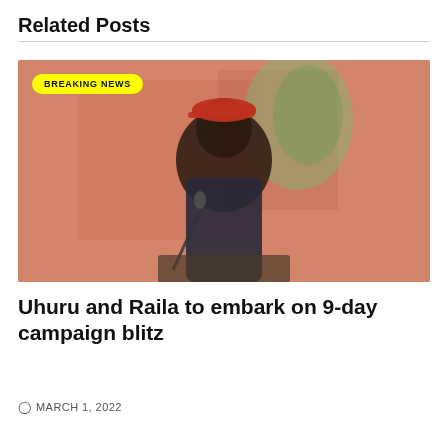Related Posts
[Figure (photo): A man speaking at a podium with a microphone, wearing a red cap and dark jacket, against an orange/reddish background with a BREAKING NEWS badge overlay]
Uhuru and Raila to embark on 9-day campaign blitz
MARCH 1, 2022